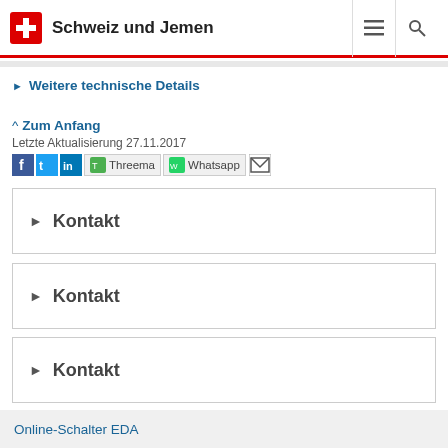Schweiz und Jemen
Weitere technische Details
^ Zum Anfang
Letzte Aktualisierung 27.11.2017
[Figure (screenshot): Social sharing icons row: Facebook, Twitter, LinkedIn, Threema, Whatsapp, Email]
Kontakt
Kontakt
Kontakt
Online-Schalter EDA